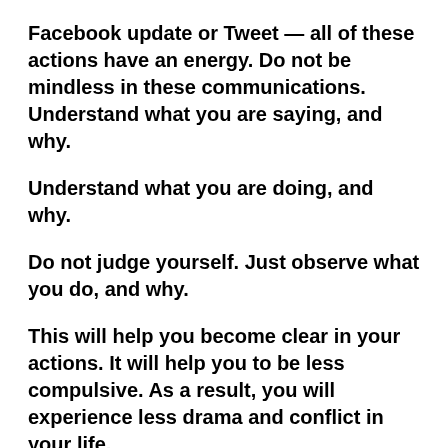Facebook update or Tweet — all of these actions have an energy.  Do not be mindless in these communications.  Understand what you are saying, and why.
Understand what you are doing, and why.
Do not judge yourself.  Just observe what you do, and why.
This will help you become clear in your actions.  It will help you to be less compulsive.  As a result, you will experience less drama and conflict in your life.
It may seem a little tedious, but really it is good to always ask yourself “Why am I doing this?” before you do something.
Many people call this “setting an intention.”  It is a